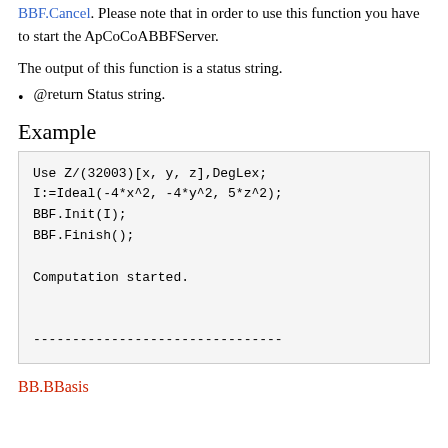BBF.Cancel. Please note that in order to use this function you have to start the ApCoCoABBFServer.
The output of this function is a status string.
@return Status string.
Example
Use Z/(32003)[x, y, z],DegLex;
I:=Ideal(-4*x^2, -4*y^2, 5*z^2);
BBF.Init(I);
BBF.Finish();

Computation started.

--------------------------------
BB.BBasis